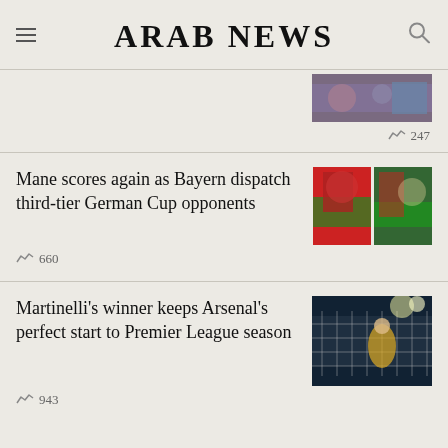ARAB NEWS
247
Mane scores again as Bayern dispatch third-tier German Cup opponents
660
Martinelli's winner keeps Arsenal's perfect start to Premier League season
943